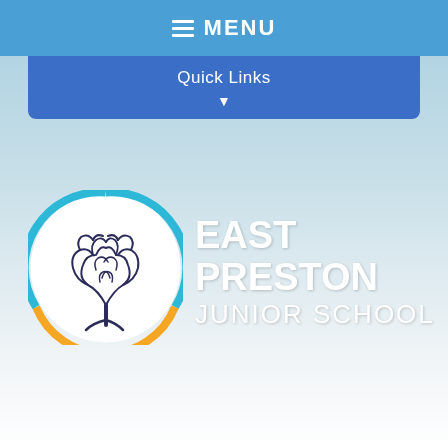MENU
Quick Links
[Figure (logo): East Preston Junior School logo: a stylized tree with curling branches inside a circle with cyan top and orange bottom arc, on a white background]
EAST PRESTON JUNIOR SCHOOL